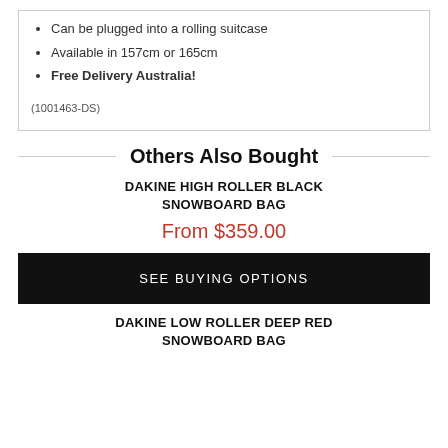Can be plugged into a rolling suitcase
Available in 157cm or 165cm
Free Delivery Australia!
(1001463-DS)
Others Also Bought
DAKINE HIGH ROLLER BLACK SNOWBOARD BAG
From $359.00
SEE BUYING OPTIONS
DAKINE LOW ROLLER DEEP RED SNOWBOARD BAG